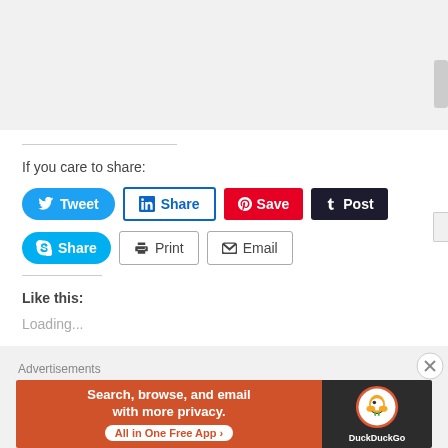[Figure (screenshot): Apply button, blue-grey rounded rectangle in top right area]
If you care to share:
[Figure (screenshot): Social sharing buttons: Tweet, Share (LinkedIn), Save (Pinterest), Post (Tumblr), Share (Skype), Print, Email]
Like this:
Loading...
Advertisements
[Figure (screenshot): DuckDuckGo advertisement banner: Search, browse, and email with more privacy. All in One Free App]